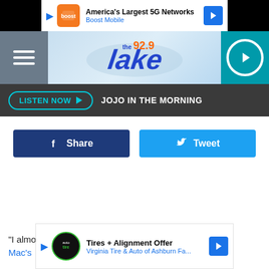[Figure (screenshot): Boost Mobile ad banner: orange Boost Mobile icon, text 'America's Largest 5G Networks / Boost Mobile', blue navigation arrow icon]
[Figure (logo): 92.9 The Lake radio station logo on light blue background with hamburger menu on left and teal play button on right]
LISTEN NOW ▶  JOJO IN THE MORNING
[Figure (infographic): Facebook Share button (dark blue) and Twitter Tweet button (light blue)]
[Figure (screenshot): Virginia Tire & Auto ad: 'Tires + Alignment Offer / Virginia Tire & Auto of Ashburn Fa...' with auto service logo and navigation arrow]
“I almo...ood Mac’s